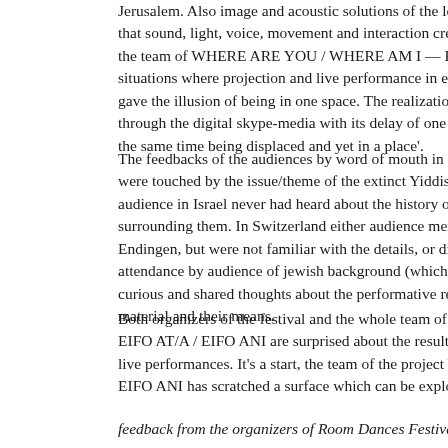Jerusalem. Also image and acoustic solutions of the low-key media sky that sound, light, voice, movement and interaction created in both places the team of WHERE ARE YOU / WHERE AM I — EIFO AT/A / EIFO situations where projection and live performance in each place merged gave the illusion of being in one space. The realization of an analogue through the digital skype-media with its delay of one second added to t the same time being displaced and yet in a place'.
The feedbacks of the audiences by word of mouth in Zürich, Tel Aviv a were touched by the issue/theme of the extinct Yiddish communities an audience in Israel never had heard about the history of this communitiy surrounding them. In Switzerland either audience members had heard a Endingen, but were not familiar with the details, or did also hear for the attendance by audience of jewish background (which knew about the h curious and shared thoughts about the performative realization, the intr material and their means.
Both organizers of the festival and the whole team of the project WHE EIFO AT/A / EIFO ANI are surprised about the results and possibilities live performances. It's a start, the team of the project WHERE ARE YO EIFO ANI has scratched a surface which can be explored in further pro
feedback from the organizers of Room Dances Festival about the atten